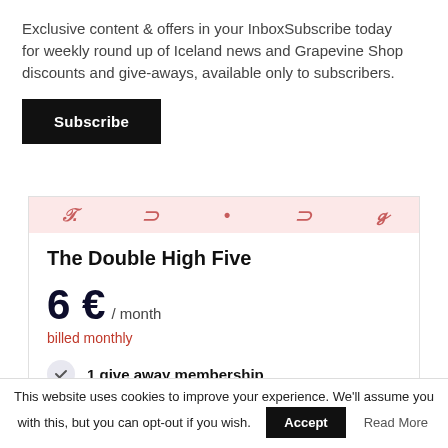Exclusive content & offers in your InboxSubscribe today for weekly round up of Iceland news and Grapevine Shop discounts and give-aways, available only to subscribers.
Subscribe
[Figure (illustration): Decorative red-on-pink illustrated strip across card top]
The Double High Five
6€ / month
billed monthly
1 give away membership
This website uses cookies to improve your experience. We'll assume you're ok with this, but you can opt-out if you wish.
Accept
Read More